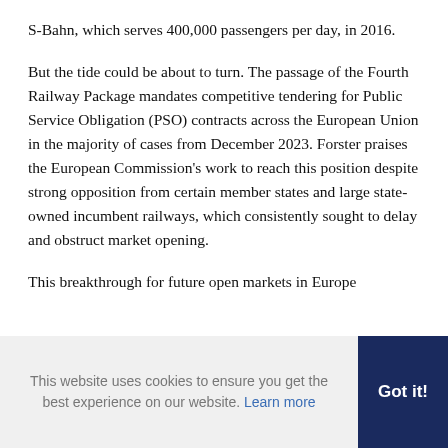S-Bahn, which serves 400,000 passengers per day, in 2016.
But the tide could be about to turn. The passage of the Fourth Railway Package mandates competitive tendering for Public Service Obligation (PSO) contracts across the European Union in the majority of cases from December 2023. Forster praises the European Commission's work to reach this position despite strong opposition from certain member states and large state-owned incumbent railways, which consistently sought to delay and obstruct market opening.
This breakthrough for future open markets in Europe
This website uses cookies to ensure you get the best experience on our website. Learn more
Got it!